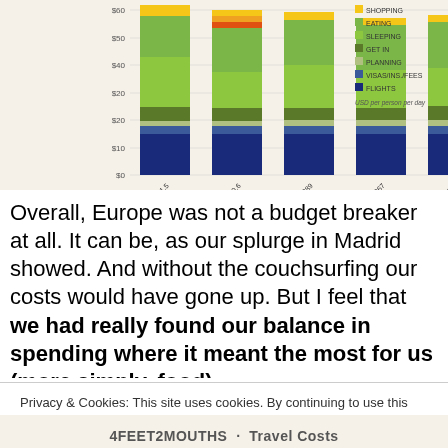[Figure (stacked-bar-chart): Travel costs by destination]
Overall, Europe was not a budget breaker at all. It can be, as our splurge in Madrid showed. And without the couchsurfing our costs would have gone up. But I feel that we had really found our balance in spending where it meant the most for us (more simply, food).
Privacy & Cookies: This site uses cookies. By continuing to use this website, you agree to their use.
To find out more, including how to control cookies, see here: Cookie Policy
4FEET2MOUTHS · Travel Costs